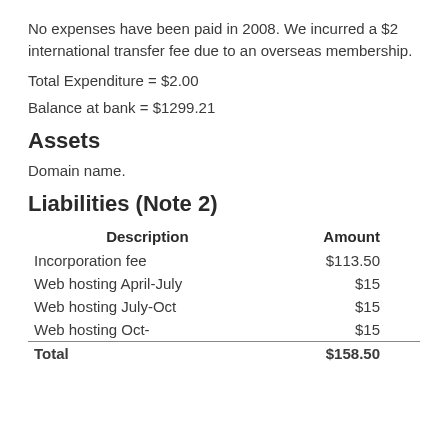No expenses have been paid in 2008. We incurred a $2 international transfer fee due to an overseas membership.
Total Expenditure = $2.00
Balance at bank = $1299.21
Assets
Domain name.
Liabilities (Note 2)
| Description | Amount |
| --- | --- |
| Incorporation fee | $113.50 |
| Web hosting April-July | $15 |
| Web hosting July-Oct | $15 |
| Web hosting Oct- | $15 |
| Total | $158.50 |